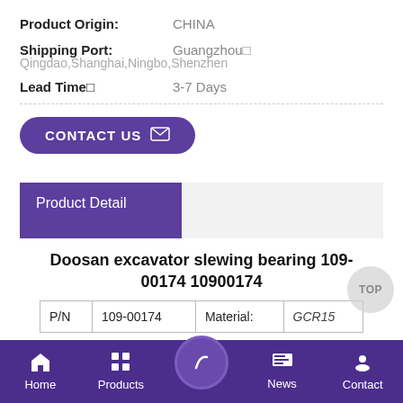Product Origin: CHINA
Shipping Port: Guangzhou□
Qingdao,Shanghai,Ningbo,Shenzhen
Lead Time□: 3-7 Days
CONTACT US
Product Detail
Doosan excavator slewing bearing 109-00174 10900174
| P/N |  | Material: |  |
| --- | --- | --- | --- |
| P/N | 109-00174 | Material: | GCR15 |
Home  Products  News  Contact